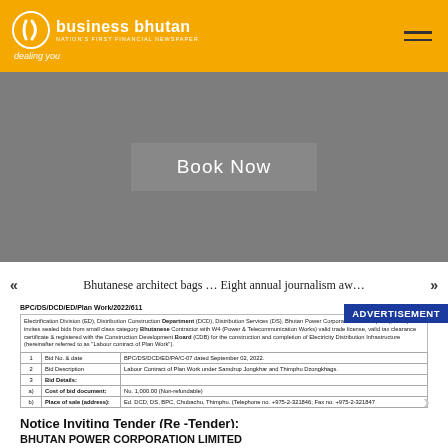business bhutan — NATION'S FIRST FINANCIAL NEWSPAPER — dealing you
[Figure (other): Advertisement banner with 'Book Now' button on grey background]
« Bhutanese architect bags … Eight annual journalism aw… »
BPC/DS/DCD/ED/Plan Work/2022/611
Electrification Division (ED), Distribution Construction Department (DCD), Distribution Services (DS), Bhutan Power Corporation Limited (BPC), Thimphu invites sealed bids from small class category Bhutanese Contractor with W4 (Power & Telecommunication Works) valid trade license, valid tax clearance certificate & registered with the Construction Development Board (CDB) for the construction and completion of Electricity Distribution Infrastructure (hereinafter referred to as "Labour contract of Plan Work").
|  |  |  |
| --- | --- | --- |
| 1 | Bid No. & date | BPC/DS/DCD/ED/PA/C-07 dated September 02, 2022. |
| 2 | Bid Description | Labour Contract of Plan Work under Samdrup Jongkhar and Thimphu Dzongkhags. |
| 3 | Bid Details: |  |
| a) | Cost of bid document: | Nu. 1,000.00 (Non-refundable) |
| b) | Place of sale (address): | Ed. DCD, DS, BPC, Chubachu, Thimphu. (Telephone no. +975-2-321846; Fax no. +975-2-321847 |
Notice Inviting Tender (Re-Tender):
BHUTAN POWER CORPORATION LIMITED